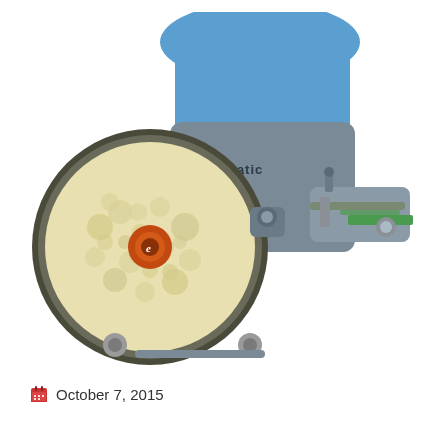[Figure (photo): A Numatic brand floor scrubber/cleaning machine photographed against a white background. The machine has a blue upper body and grey lower chassis. A large circular yellow/cream scrubbing pad is visible on the left side with an orange center hub. A squeegee/blade assembly extends to the right. Small grey caster wheels are visible at the base.]
October 7, 2015